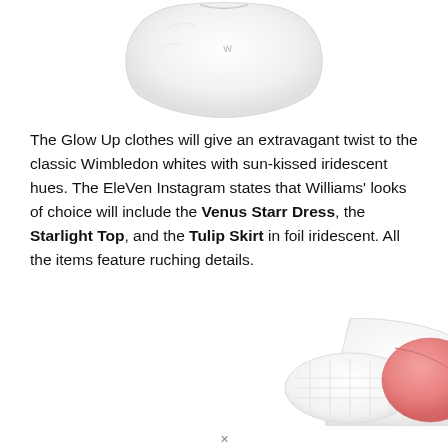[Figure (photo): White athletic skirt or top garment on white background, with a small logo visible]
The Glow Up clothes will give an extravagant twist to the classic Wimbledon whites with sun-kissed iridescent hues. The EleVen Instagram states that Williams' looks of choice will include the Venus Starr Dress, the Starlight Top, and the Tulip Skirt in foil iridescent. All the items feature ruching details.
[Figure (photo): White and pink athletic clothing items including what appears to be gloves or accessories with Wilson branding]